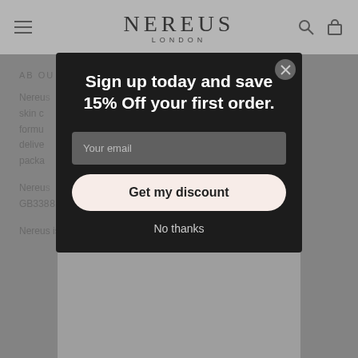NEREUS LONDON
ABOUT
Nereus ... and skin c... formu... oils & delive... ee packa...
Nereus ... GB338888 ...
Nereus is a registered trademark No 018134374
[Figure (screenshot): Modal popup on e-commerce website with heading 'Sign up today and save 15% Off your first order.', email input field, 'Get my discount' button, and 'No thanks' link]
Sign up today and save 15% Off your first order.
Your email
Get my discount
No thanks